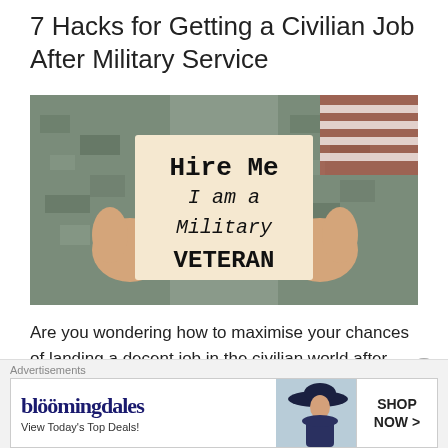7 Hacks for Getting a Civilian Job After Military Service
[Figure (photo): A person in military camouflage uniform holding a sign that reads 'Hire Me I am a Military VETERAN', with an American flag partially visible in the background.]
Are you wondering how to maximise your chances of landing a decent job in the civilian world after one or more years of military service? Even though there are plenty of free resources for helping people make the transition, the move is not always
[Figure (screenshot): Advertisement banner for Bloomingdale's reading 'bloomingdales View Today's Top Deals!' with an image of a woman in a hat and a 'SHOP NOW >' button.]